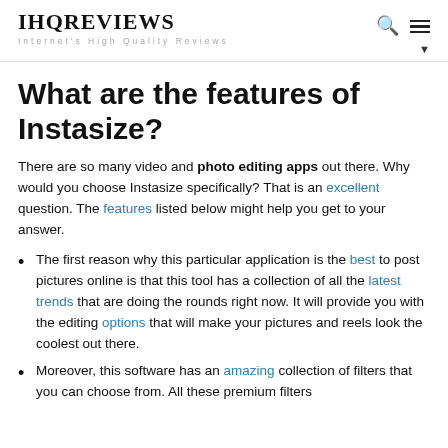IHQREVIEWS
Internet's High Quality Reviews
What are the features of Instasize?
There are so many video and photo editing apps out there. Why would you choose Instasize specifically? That is an excellent question. The features listed below might help you get to your answer.
The first reason why this particular application is the best to post pictures online is that this tool has a collection of all the latest trends that are doing the rounds right now. It will provide you with the editing options that will make your pictures and reels look the coolest out there.
Moreover, this software has an amazing collection of filters that you can choose from. All these premium filters